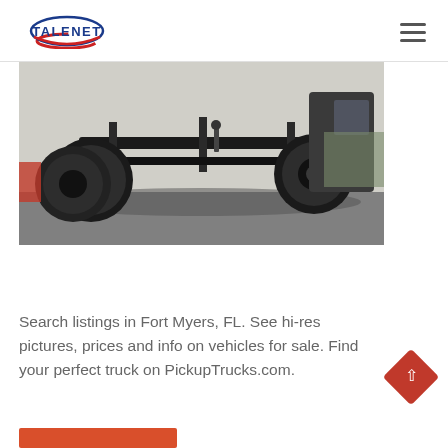TALENET
[Figure (photo): Undercarriage view of a truck showing axles, wheels, and chassis from below, photographed from ground level on pavement.]
Search listings in Fort Myers, FL. See hi-res pictures, prices and info on vehicles for sale. Find your perfect truck on PickupTrucks.com.